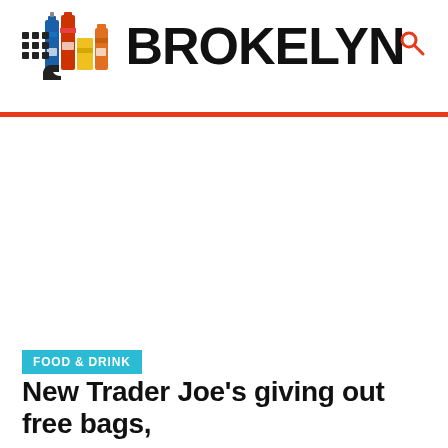BROKELYN
FOOD & DRINK
New Trader Joe's giving out free bags,